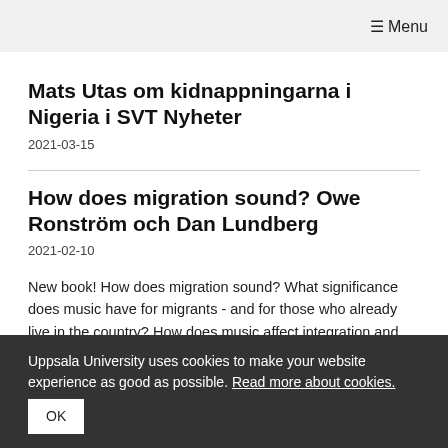≡ Menu
Mats Utas om kidnappningarna i Nigeria i SVT Nyheter
2021-03-15
How does migration sound? Owe Ronström och Dan Lundberg
2021-02-10
New book! How does migration sound? What significance does music have for migrants - and for those who already live in the country? How does music affect integration and
Uppsala University uses cookies to make your website experience as good as possible. Read more about cookies. OK